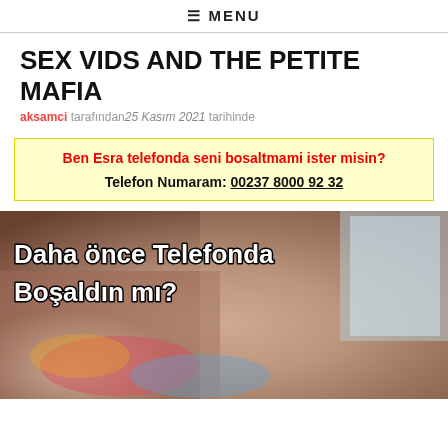≡ MENU
SEX VIDS AND THE PETITE MAFIA
aksamci tarafından25 Kasım 2021 tarihinde
Ben Esra telefonda seni bosaltmami ister misin?
Telefon Numaram: 00237 8000 92 32
[Figure (photo): Photo with white bold Turkish text overlay reading 'Daha önce Telefonda Boşaldın mı?']